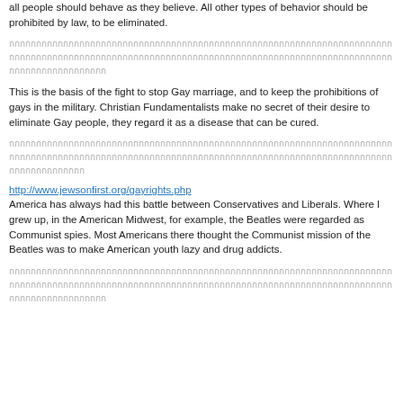all people should behave as they believe. All other types of behavior should be prohibited by law, to be eliminated.
[Thai text - transliterated block]
This is the basis of the fight to stop Gay marriage, and to keep the prohibitions of gays in the military. Christian Fundamentalists make no secret of their desire to eliminate Gay people, they regard it as a disease that can be cured.
[Thai text - transliterated block]
http://www.jewsonfirst.org/gayrights.php
America has always had this battle between Conservatives and Liberals. Where I grew up, in the American Midwest, for example, the Beatles were regarded as Communist spies. Most Americans there thought the Communist mission of the Beatles was to make American youth lazy and drug addicts.
[Thai text - transliterated block]